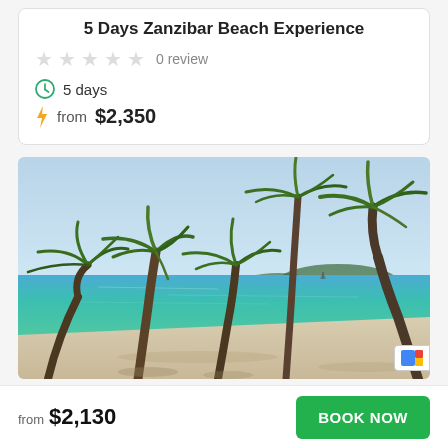5 Days Zanzibar Beach Experience
0 review
5 days
from $2,350
[Figure (photo): Tropical beach scene with palm trees leaning over white sand beach and turquoise ocean water under a blue sky]
from $2,130
BOOK NOW